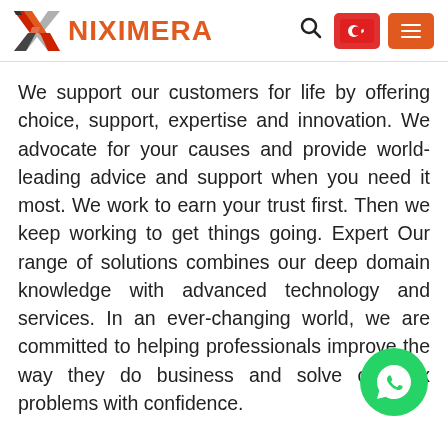[Figure (logo): Niximera logo with stylized X mark in red/orange/black and brand name NIXIMERA in orange text]
We support our customers for life by offering choice, support, expertise and innovation. We advocate for your causes and provide world-leading advice and support when you need it most. We work to earn your trust first. Then we keep working to get things going. Expert Our range of solutions combines our deep domain knowledge with advanced technology and services. In an ever-changing world, we are committed to helping professionals improve the way they do business and solve complex problems with confidence.